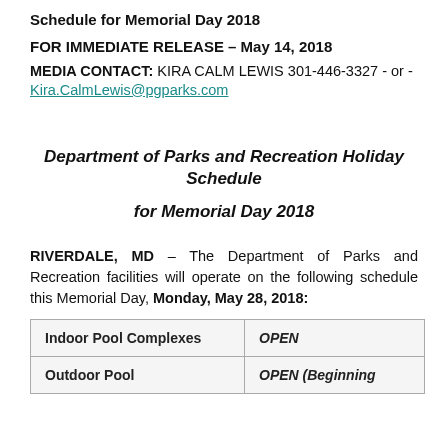Schedule for Memorial Day 2018
FOR IMMEDIATE RELEASE – May 14, 2018
MEDIA CONTACT: KIRA CALM LEWIS 301-446-3327 - or -
Kira.CalmLewis@pgparks.com
Department of Parks and Recreation Holiday Schedule for Memorial Day 2018
RIVERDALE, MD – The Department of Parks and Recreation facilities will operate on the following schedule this Memorial Day, Monday, May 28, 2018:
|  |  |
| --- | --- |
| Indoor Pool Complexes | OPEN |
| Outdoor Pool | OPEN (Beginning |